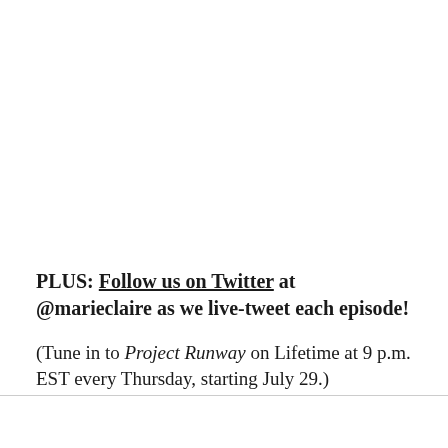PLUS: Follow us on Twitter at @marieclaire as we live-tweet each episode!
(Tune in to Project Runway on Lifetime at 9 p.m. EST every Thursday, starting July 29.)